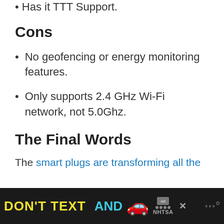Has it TTT Support.
Cons
No geofencing or energy monitoring features.
Only supports 2.4 GHz Wi-Fi network, not 5.0Ghz.
The Final Words
The smart plugs are transforming all the
[Figure (other): Advertisement banner: DON'T TEXT AND [car emoji] with ad badge and NHTSA logo on dark background]